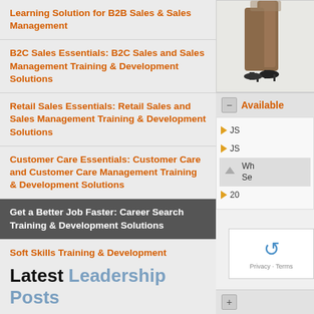Learning Solution for B2B Sales & Sales Management
B2C Sales Essentials: B2C Sales and Sales Management Training & Development Solutions
Retail Sales Essentials: Retail Sales and Sales Management Training & Development Solutions
Customer Care Essentials: Customer Care and Customer Care Management Training & Development Solutions
Get a Better Job Faster: Career Search Training & Development Solutions
Soft Skills Training & Development Solutions
Human Resources Training & Development Solutions
[Figure (photo): Partial view of a person walking, showing legs in brown trousers and black heels]
Available
JS
JS
Wh Se
20
Latest Leadership Posts